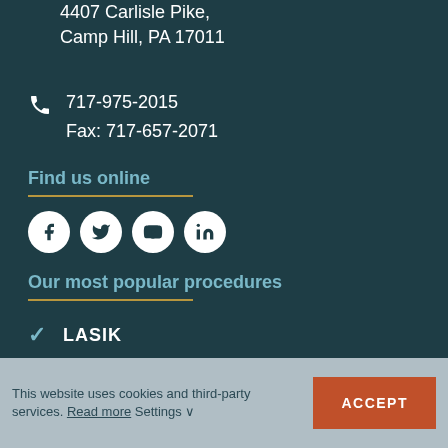4407 Carlisle Pike, Camp Hill, PA 17011
717-975-2015
Fax: 717-657-2071
Find us online
[Figure (infographic): Social media icons: Facebook, Twitter, YouTube, LinkedIn]
Our most popular procedures
LASIK
This website uses cookies and third-party services. Read more Settings